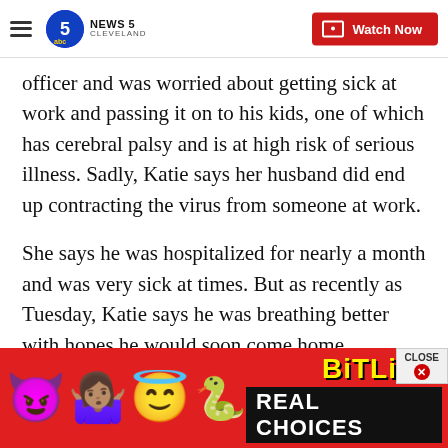NEWS 5 CLEVELAND | Watch Now
officer and was worried about getting sick at work and passing it on to his kids, one of which has cerebral palsy and is at high risk of serious illness. Sadly, Katie says her husband did end up contracting the virus from someone at work.
She says he was hospitalized for nearly a month and was very sick at times. But as recently as Tuesday, Katie says he was breathing better with hopes he would soon come home.
That night, their son sent him a video
[Figure (screenshot): BitLife mobile game advertisement banner with emojis (devil, person shrugging, angel, sperm) and 'REAL CHOICES' text on red background]